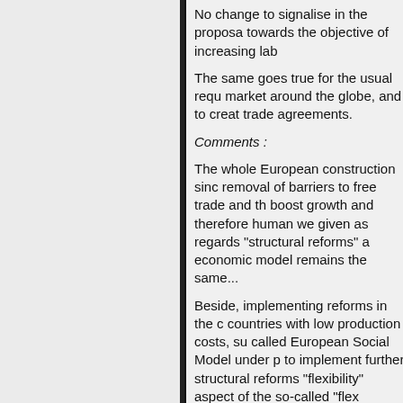No change to signalise in the proposal towards the objective of increasing lab
The same goes true for the usual requ market around the globe, and to creat trade agreements.
Comments :
The whole European construction sinc removal of barriers to free trade and t boost growth and therefore human we given as regards "structural reforms" a economic model remains the same...
Beside, implementing reforms in the c countries with low production costs, s called European Social Model under p to implement further structural reforms "flexibility" aspect of the so-called "flex
2. e. Taxation policy
The Recovery Plan includes a number Some of these measures have already other measures are still to come.
General taxation measures
a) Lower taxes and social contribution